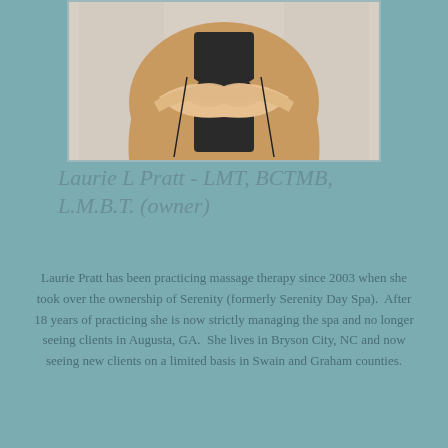[Figure (photo): Photo of a woman in a tan/camel blazer with arms crossed, cropped to show torso and hands]
Laurie L Pratt - LMT, BCTMB, L.M.B.T. (owner)
Laurie Pratt has been practicing massage therapy since 2003 when she took over the ownership of Serenity (formerly Serenity Day Spa). After 18 years of practicing she is now strictly managing the spa and no longer seeing clients in Augusta, GA. She lives in Bryson City, NC and now seeing new clients on a limited basis in Swain and Graham counties.